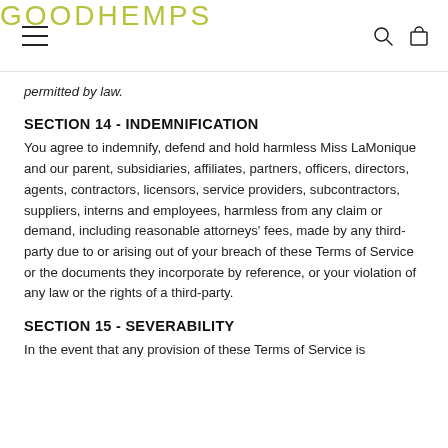GOODHEMPS
permitted by law.
SECTION 14 - INDEMNIFICATION
You agree to indemnify, defend and hold harmless Miss LaMonique and our parent, subsidiaries, affiliates, partners, officers, directors, agents, contractors, licensors, service providers, subcontractors, suppliers, interns and employees, harmless from any claim or demand, including reasonable attorneys' fees, made by any third-party due to or arising out of your breach of these Terms of Service or the documents they incorporate by reference, or your violation of any law or the rights of a third-party.
SECTION 15 - SEVERABILITY
In the event that any provision of these Terms of Service is